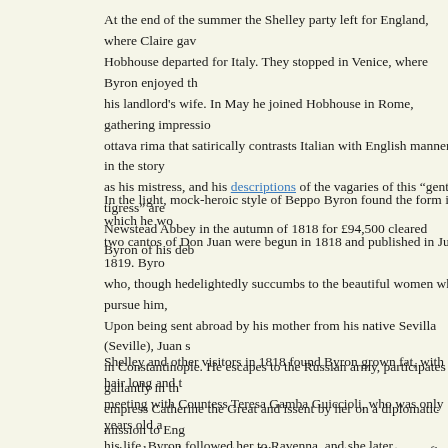At the end of the summer the Shelley party left for England, where Claire gave birth. Hobhouse departed for Italy. They stopped in Venice, where Byron enjoyed the favors of his landlord's wife. In May he joined Hobhouse in Rome, gathering impressions for the ottava rima that satirically contrasts Italian with English manners in the story of Beppo, as his mistress, and his descriptions of the vagaries of this "gentle tigress" are classic. Newstead Abbey in the autumn of 1818 for £94,500 cleared Byron of his debts.
In the light, mock-heroic style of Beppo Byron found the form in which he would write two cantos of Don Juan were begun in 1818 and published in July 1819. Byron's hero, who, though hedelightedly succumbs to the beautiful women who pursue him, is passive. Upon being sent abroad by his mother from his native Sevilla (Seville), Juan suffers in Constantinople. He escapes to the Russian army, participates gallantly in the battles, empress Catherine the Great and issent by her on a diplomatic mission to England as satirical social commentary. His most consistent targets are, first, the hypocrisies and pretenses of poets, lovers, generals, rulers, and humanity in general. Don Juan illness and death. In Don Juan he was able to free himself from the excessive melancholy wit and his unique view of the comic rather than the tragic discrepancy between ideal.
Shelley and other visitors in 1818 found Byron grown fat, with hair long and tangled. His meeting with Countess Teresa Gamba Guiccioli, who was only 19 years old and transformed his life. Byron followed her to Ravenna, and she later accompanied him back as his cavalier (gentleman-in-waiting) and won the friendship of her father and brother, Count Gamba, its revolutionary aims to free Italy from Austrian rule. In Ravenna Byron wrote.